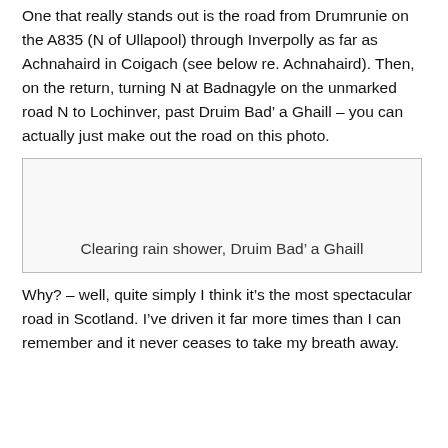One that really stands out is the road from Drumrunie on the A835 (N of Ullapool) through Inverpolly as far as Achnahaird in Coigach (see below re. Achnahaird). Then, on the return, turning N at Badnagyle on the unmarked road N to Lochinver, past Druim Bad’ a Ghaill – you can actually just make out the road on this photo.
[Figure (photo): Photo placeholder box for a clearing rain shower at Druim Bad’ a Ghaill]
Clearing rain shower, Druim Bad’ a Ghaill
Why? – well, quite simply I think it’s the most spectacular road in Scotland. I’ve driven it far more times than I can remember and it never ceases to take my breath away.